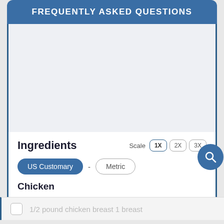FREQUENTLY ASKED QUESTIONS
Ingredients
Scale  1X  2X  3X
US Customary - Metric
Chicken
1/2 pound chicken breast 1 breast